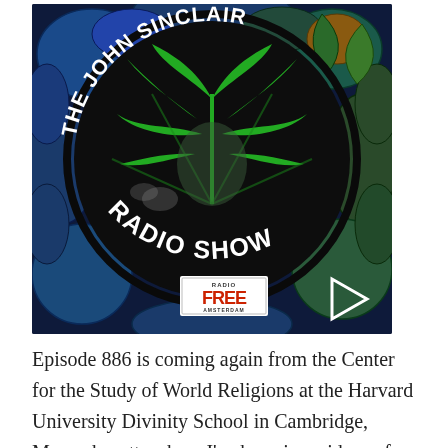[Figure (illustration): The John Sinclair Radio Show logo — circular dark badge with white arc text reading 'THE JOHN SINCLAIR' on top and 'RADIO SHOW' on bottom, large green cannabis leaf in the center over a silhouetted face, colorful stained-glass background. Radio Free Amsterdam badge in lower center, play button triangle on lower right.]
Episode 886 is coming again from the Center for the Study of World Religions at the Harvard University Divinity School in Cambridge, Massachusetts where I've been in residence for the month of October, and tonight